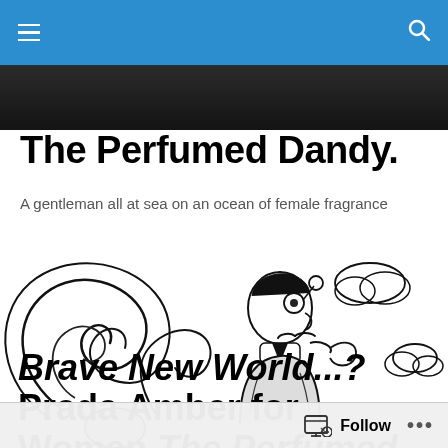The Perfumed Dandy. — navigation header with hamburger menu and search icon
[Figure (photo): Dark decorative banner image at top of page beneath navigation bar]
The Perfumed Dandy.
A gentleman all at sea on an ocean of female fragrance
[Figure (illustration): Black and white pen-and-ink illustration of a dandy gentleman in profile, exhaling swirling smoke/fragrance trails, wearing a monocle, with decorative clouds around him]
Brave New World...? Prada Amber for Women The Perfumed Dandy's Censored
Follow ...